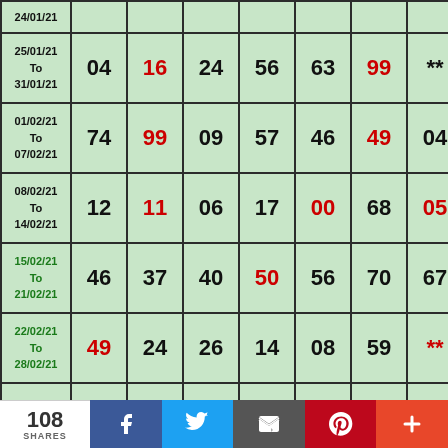| Date | 1 | 2 | 3 | 4 | 5 | 6 | 7 |
| --- | --- | --- | --- | --- | --- | --- | --- |
| 24/01/21 |  |  |  |  |  |  |  |
| 25/01/21 To 31/01/21 | 04 | 16 | 24 | 56 | 63 | 99 | ** |
| 01/02/21 To 07/02/21 | 74 | 99 | 09 | 57 | 46 | 49 | 04 |
| 08/02/21 To 14/02/21 | 12 | 11 | 06 | 17 | 00 | 68 | 05 |
| 15/02/21 To 21/02/21 | 46 | 37 | 40 | 50 | 56 | 70 | 67 |
| 22/02/21 To 28/02/21 | 49 | 24 | 26 | 14 | 08 | 59 | ** |
| 01/03/2021 To ... | 43 | 61 | 80 | 82 | 91 | 55 | 84 |
108 SHARES | Facebook | Twitter | Email | Pinterest | More